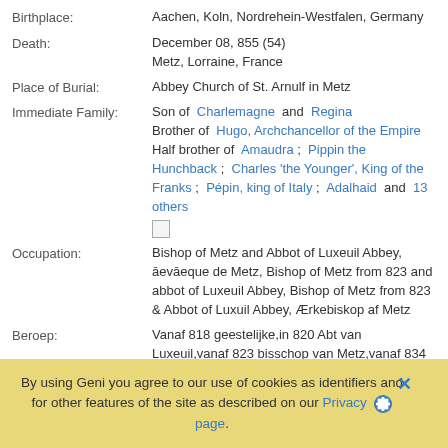Birthplace: Aachen, Koln, Nordrehein-Westfalen, Germany
Death: December 08, 855 (54)
Metz, Lorraine, France
Place of Burial: Abbey Church of St. Arnulf in Metz
Immediate Family: Son of Charlemagne and Regina
Brother of Hugo, Archchancellor of the Empire
Half brother of Amaudra ; Pippin the Hunchback ; Charles 'the Younger', King of the Franks ; Pépin, king of Italy ; Adalhaid and 13 others
Occupation: Bishop of Metz and Abbot of Luxeuil Abbey, āevāeque de Metz, Bishop of Metz from 823 and abbot of Luxeuil Abbey, Bishop of Metz from 823 & Abbot of Luxuil Abbey, Ærkebiskop af Metz
Beroep: Vanaf 818 geestelijke,in 820 Abt van Luxeuil,vanaf 823 bisschop van Metz,vanaf 834 aartsbisschio en aartskapellaan
By using Geni you agree to our use of cookies as identifiers and for other features of the site as described on our Privacy page.